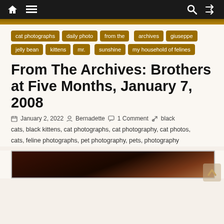Navigation bar with home, menu, search, and shuffle icons
cat photographs
daily photo
from the archives
giuseppe
jelly bean
kittens
mr. sunshine
my household of felines
From The Archives: Brothers at Five Months, January 7, 2008
January 2, 2022   Bernadette   1 Comment   black cats, black kittens, cat photographs, cat photography, cat photos, cats, feline photographs, pet photography, pets, photography
[Figure (photo): Partial view of a dark cat photograph at the bottom of the page]